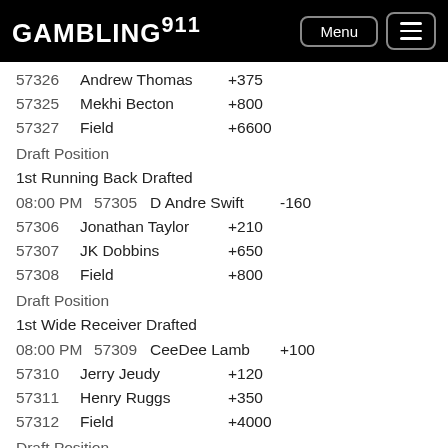GAMBLING911 Menu
57326   Andrew Thomas   +375
57325   Mekhi Becton   +800
57327   Field   +6600
Draft Position
1st Running Back Drafted
08:00 PM   57305   D Andre Swift   -160
57306   Jonathan Taylor   +210
57307   JK Dobbins   +650
57308   Field   +800
Draft Position
1st Wide Receiver Drafted
08:00 PM   57309   CeeDee Lamb   +100
57310   Jerry Jeudy   +120
57311   Henry Ruggs   +350
57312   Field   +4000
Draft Position
2nd QB Drafted